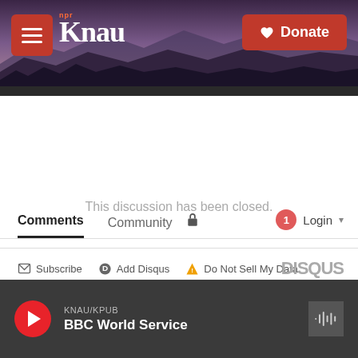[Figure (screenshot): KNAU NPR radio station website header with mountain background, menu button, KNAU logo, and red Donate button]
Comments  Community  🔒  1  Login
♡ Favorite  Sort by Best
This discussion has been closed.
Subscribe  Add Disqus  Do Not Sell My Data  DISQUS
KNAU/KPUB  BBC World Service